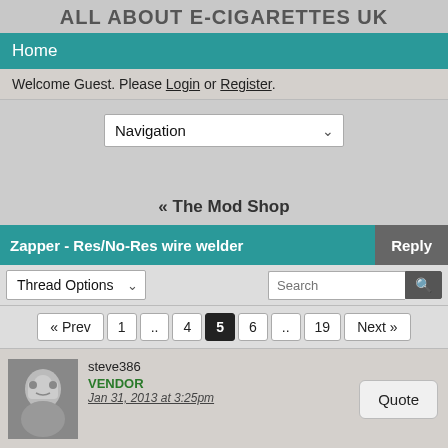ALL ABOUT E-CIGARETTES UK
Home
Welcome Guest. Please Login or Register.
Navigation
« The Mod Shop
Zapper - Res/No-Res wire welder
Thread Options
Search
« Prev  1  ..  4  5  6  ..  19  Next »
steve386
VENDOR
Jan 31, 2013 at 3:25pm
Quote